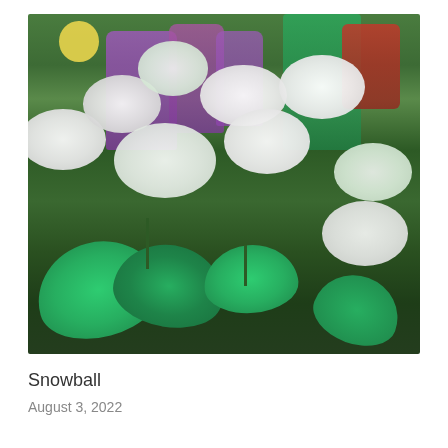[Figure (photo): A garden photograph showing large white snowball hydrangea blooms (Hydrangea arborescens) with large green leaves in the foreground. Background shows purple foxglove flowers, yellow flowers, red flowers, and lush green foliage.]
Snowball
August 3, 2022